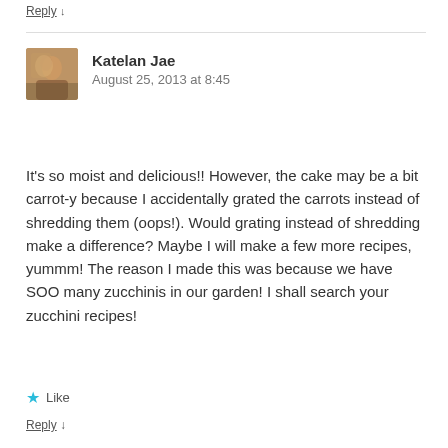Reply ↓
[Figure (photo): Avatar photo of Katelan Jae, an outdoor scene with a person]
Katelan Jae
August 25, 2013 at 8:45
It's so moist and delicious!! However, the cake may be a bit carrot-y because I accidentally grated the carrots instead of shredding them (oops!). Would grating instead of shredding make a difference? Maybe I will make a few more recipes, yummm! The reason I made this was because we have SOO many zucchinis in our garden! I shall search your zucchini recipes!
★ Like
Reply ↓